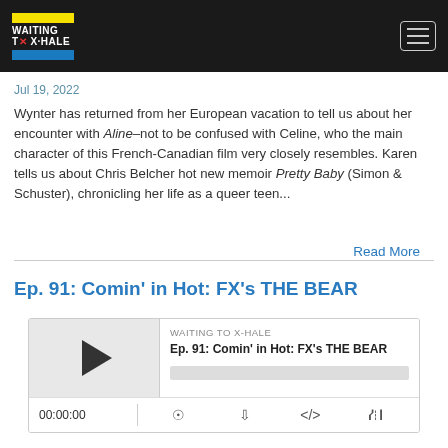Waiting to X-Hale
Jul 19, 2022
Wynter has returned from her European vacation to tell us about her encounter with Aline–not to be confused with Celine, who the main character of this French-Canadian film very closely resembles. Karen tells us about Chris Belcher hot new memoir Pretty Baby (Simon & Schuster), chronicling her life as a queer teen...
Read More
Ep. 91: Comin' in Hot: FX's THE BEAR
[Figure (screenshot): Podcast player widget showing episode 'Ep. 91: Comin' in Hot: FX's THE BEAR' by Waiting to X-Hale, with play button, progress bar, and controls showing 00:00:00]